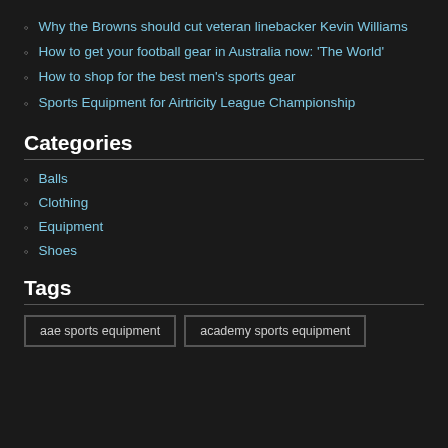Why the Browns should cut veteran linebacker Kevin Williams
How to get your football gear in Australia now: ‘The World’
How to shop for the best men’s sports gear
Sports Equipment for Airtricity League Championship
Categories
Balls
Clothing
Equipment
Shoes
Tags
aae sports equipment
academy sports equipment